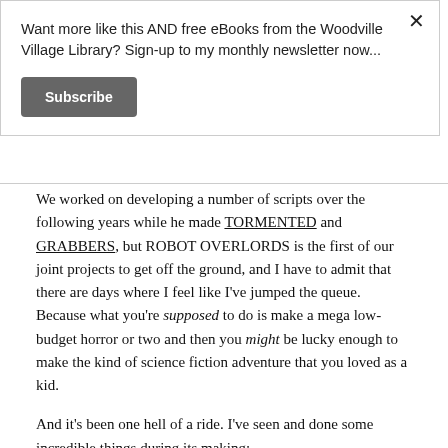Want more like this AND free eBooks from the Woodville Village Library? Sign-up to my monthly newsletter now...
Subscribe
We worked on developing a number of scripts over the following years while he made TORMENTED and GRABBERS, but ROBOT OVERLORDS is the first of our joint projects to get off the ground, and I have to admit that there are days where I feel like I've jumped the queue. Because what you're supposed to do is make a mega low-budget horror or two and then you might be lucky enough to make the kind of science fiction adventure that you loved as a kid.
And it's been one hell of a ride. I've seen and done some incredible things during its making: